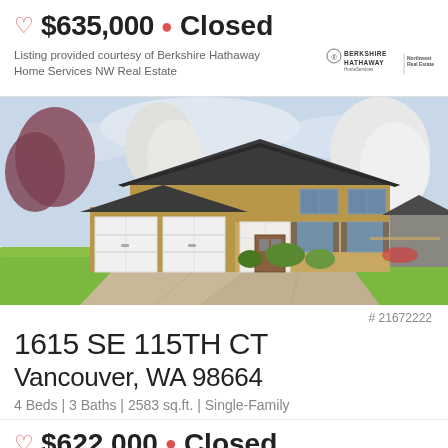$635,000 • Closed
Listing provided courtesy of Berkshire Hathaway Home Services NW Real Estate
[Figure (photo): Exterior photo of a two-story single-family home with three-car garage, concrete driveway, and flowering trees in spring]
# 21672222
1615 SE 115TH CT
Vancouver, WA 98664
4 Beds | 3 Baths | 2583 sq.ft. | Single-Family
$622,000 • Closed